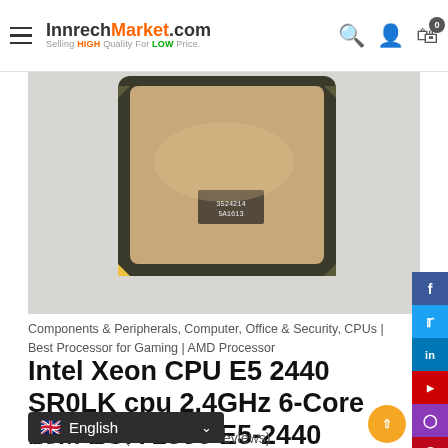InnrechMarket.com — Selling HIGH Quality For LOW Price.
[Figure (photo): Photo of an Intel Xeon CPU E5-2440 SR0LK processor chip viewed from above, showing the green PCB substrate and copper integrated heat spreader with product label, against a light gray background.]
Components & Peripherals, Computer, Office & Security, CPUs | Best Processor for Gaming | AMD Processor
Intel Xeon CPU E5 2440 SR0LK cpu 2.4GHz 6-Core 15M LGA 1356 E5-2440 processor
★★★★★ (184 customer reviews)
🇬🇧 English